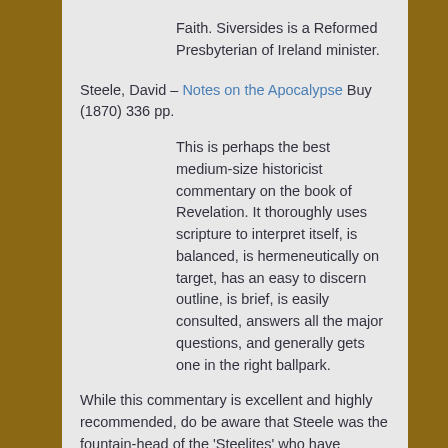Faith. Siversides is a Reformed Presbyterian of Ireland minister.
Steele, David – Notes on the Apocalypse  Buy (1870)  336 pp.
This is perhaps the best medium-size historicist commentary on the book of Revelation.  It thoroughly uses scripture to interpret itself, is balanced, is hermeneutically on target, has an easy to discern outline, is brief, is easily consulted, answers all the major questions, and generally gets one in the right ballpark.
While this commentary is excellent and highly recommended, do be aware that Steele was the fountain-head of the 'Steelites' who have extreme and dangerous views of ecclesiology and covenanting.  Steele only mentions such views in a few isolated spots in the book.  This should